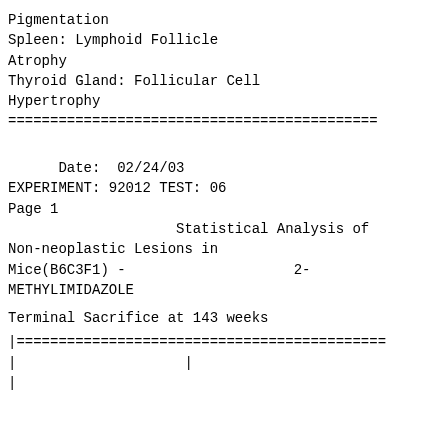Pigmentation
Spleen: Lymphoid Follicle
Atrophy
Thyroid Gland: Follicular Cell
Hypertrophy
============================================
Date:  02/24/03
EXPERIMENT: 92012 TEST: 06
Page 1
Statistical Analysis of Non-neoplastic Lesions in Mice(B6C3F1) -                    2-METHYLIMIDAZOLE
Terminal Sacrifice at 143 weeks
|============================================
|
|